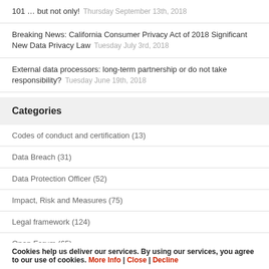101 … but not only!   Thursday September 13th, 2018
Breaking News: California Consumer Privacy Act of 2018 Significant New Data Privacy Law   Tuesday July 3rd, 2018
External data processors: long-term partnership or do not take responsibility?   Tuesday June 19th, 2018
Categories
Codes of conduct and certification (13)
Data Breach (31)
Data Protection Officer (52)
Impact, Risk and Measures (75)
Legal framework (124)
Open Forum (65)
Cookies help us deliver our services. By using our services, you agree to our use of cookies. More Info | Close | Decline